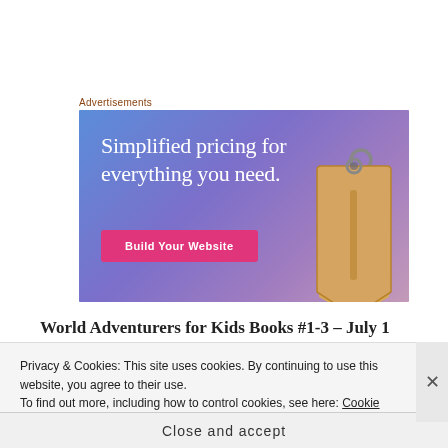Advertisements
[Figure (illustration): Advertisement banner with gradient blue-purple background showing text 'Simplified pricing for everything you need.' with a pink 'Build Your Website' button and a price tag illustration on the right.]
World Adventurers for Kids Books #1-3 – July 1
Privacy & Cookies: This site uses cookies. By continuing to use this website, you agree to their use.
To find out more, including how to control cookies, see here: Cookie Policy
Close and accept